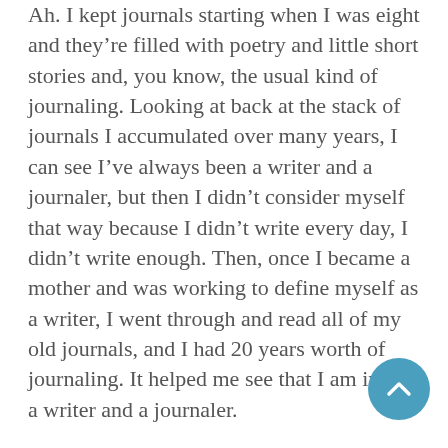Ah. I kept journals starting when I was eight and they're filled with poetry and little short stories and, you know, the usual kind of journaling. Looking at back at the stack of journals I accumulated over many years, I can see I've always been a writer and a journaler, but then I didn't consider myself that way because I didn't write every day, I didn't write enough. Then, once I became a mother and was working to define myself as a writer, I went through and read all of my old journals, and I had 20 years worth of journaling. It helped me see that I am in fact a writer and a journaler.
KGA: Did you ever remember wanting to be something other than a writer?